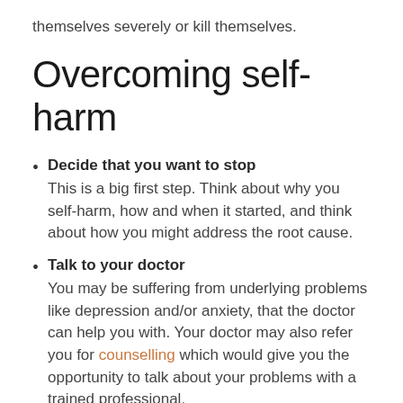themselves severely or kill themselves.
Overcoming self-harm
Decide that you want to stop
This is a big first step. Think about why you self-harm, how and when it started, and think about how you might address the root cause.
Talk to your doctor
You may be suffering from underlying problems like depression and/or anxiety, that the doctor can help you with. Your doctor may also refer you for counselling which would give you the opportunity to talk about your problems with a trained professional.